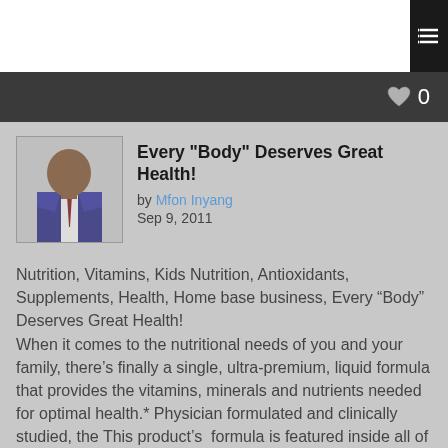Every "Body" Deserves Great Health! by Mfon Inyang Sep 9, 2011
Every "Body" Deserves Great Health!
by Mfon Inyang
Sep 9, 2011
Nutrition, Vitamins, Kids Nutrition, Antioxidants, Supplements, Health, Home base business, Every “Body” Deserves Great Health!
When it comes to the nutritional needs of you and your family, there’s finally a single, ultra-premium, liquid formula that provides the vitamins, minerals and nutrients needed for optimal health.* Physician formulated and clinically studied, the This product’s  formula is featured inside all of our wellness products to give you choices for superior nutrition that best fit your lifestyle. Everybody deserves Great health!